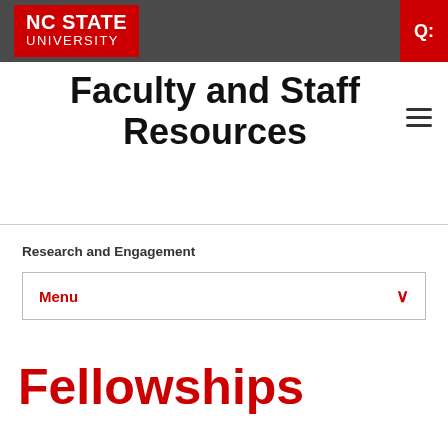NC STATE UNIVERSITY
Faculty and Staff Resources
Research and Engagement
Menu
Fellowships